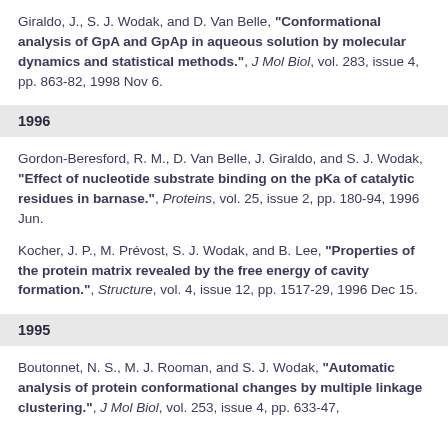Giraldo, J., S. J. Wodak, and D. Van Belle, "Conformational analysis of GpA and GpAp in aqueous solution by molecular dynamics and statistical methods.", J Mol Biol, vol. 283, issue 4, pp. 863-82, 1998 Nov 6.
1996
Gordon-Beresford, R. M., D. Van Belle, J. Giraldo, and S. J. Wodak, "Effect of nucleotide substrate binding on the pKa of catalytic residues in barnase.", Proteins, vol. 25, issue 2, pp. 180-94, 1996 Jun.
Kocher, J. P., M. Prévost, S. J. Wodak, and B. Lee, "Properties of the protein matrix revealed by the free energy of cavity formation.", Structure, vol. 4, issue 12, pp. 1517-29, 1996 Dec 15.
1995
Boutonnet, N. S., M. J. Rooman, and S. J. Wodak, "Automatic analysis of protein conformational changes by multiple linkage clustering.", J Mol Biol, vol. 253, issue 4, pp. 633-47,